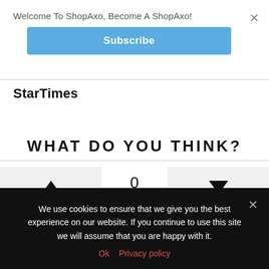Welcome To ShopAxo, Become A ShopAxo!
Subscribe
StarTimes
WHAT DO YOU THINK?
▲  0 Points  ▼
We use cookies to ensure that we give you the best experience on our website. If you continue to use this site we will assume that you are happy with it.
Ok  Privacy policy